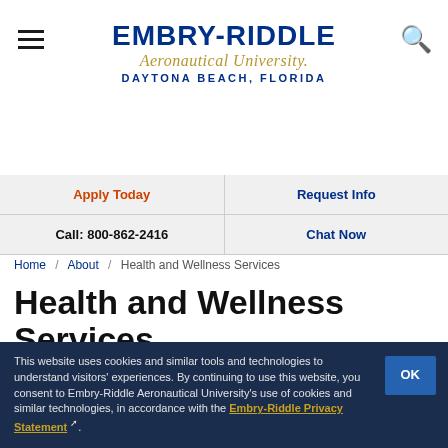[Figure (logo): Embry-Riddle Aeronautical University logo with hamburger menu icon on left and search icon on right. Text: EMBRY-RIDDLE Aeronautical University. DAYTONA BEACH, FLORIDA]
| Apply Today | Request Info |
| Call: 800-862-2416 | Chat Now |
Home / About / Health and Wellness Services
Health and Wellness Services
Page Menu
This website uses cookies and similar tools and technologies to understand visitors' experiences. By continuing to use this website, you consent to Embry-Riddle Aeronautical University's use of cookies and similar technologies, in accordance with the Embry-Riddle Privacy Statement.